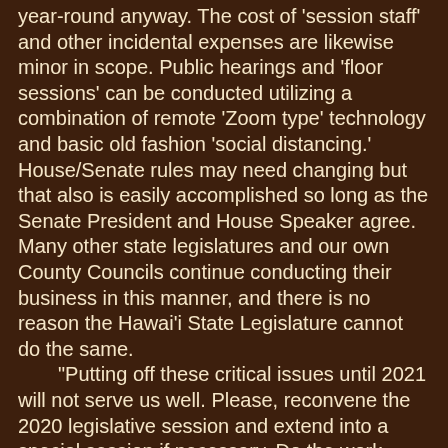year-round anyway. The cost of 'session staff' and other incidental expenses are likewise minor in scope. Public hearings and 'floor sessions' can be conducted utilizing a combination of remote 'Zoom type' technology and basic old fashion 'social distancing.' House/Senate rules may need changing but that also is easily accomplished so long as the Senate President and House Speaker agree. Many other state legislatures and our own County Councils continue conducting their business in this manner, and there is no reason the Hawai'i State Legislature cannot do the same.
	"Putting off these critical issues until 2021 will not serve us well. Please, reconvene the 2020 legislative session and extend into a special session if necessary. Do the work, until the work is done. Take whatever time is needed to accomplish the many tasks that await your attention.
	"Now is the time for Hawai'i's legislative leadership to rise to the occasion. We need you now more than ever before to show us what you got.
	"Tell Hawai'i's legislators that it's time to go back to work. Please take action today, email legislators, before May 1 if at all possible."